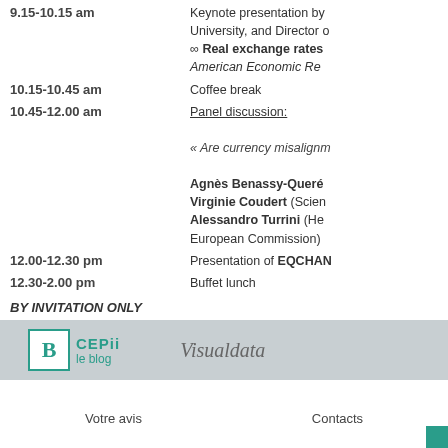9.15-10.15 am — Keynote presentation by University, and Director of ∞ Real exchange rates American Economic Re
10.15-10.45 am — Coffee break
10.45-12.00 am — Panel discussion: « Are currency misalignments... Agnès Benassy-Queré, Virginie Coudert (Sciences...), Alessandro Turrini (He... European Commission)
12.00-12.30 pm — Presentation of EQCHAN
12.30-2.00 pm — Buffet lunch
BY INVITATION ONLY
Contact: conferences@cepii.fr
[Figure (logo): CEPII le blog logo and Visualdata logo in gray footer bar]
Votre avis    Contacts